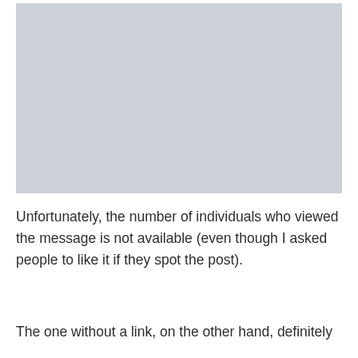[Figure (other): A light gray rectangular placeholder image occupying the upper portion of the page.]
Unfortunately, the number of individuals who viewed the message is not available (even though I asked people to like it if they spot the post).
The one without a link, on the other hand, definitely